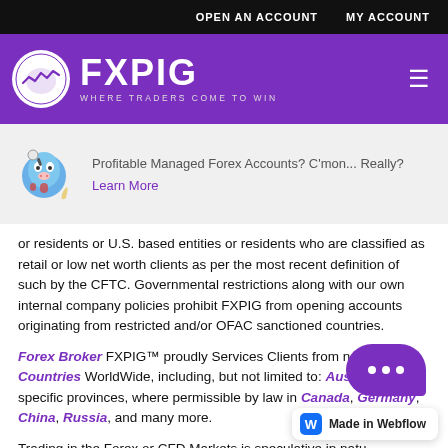OPEN AN ACCOUNT   MY ACCOUNT
[Figure (logo): FXPIG logo with pig icon and tagline WHERE TRADERS COME TO WIN on purple background]
[Figure (illustration): Blue cartoon pig genie mascot]
Profitable Managed Forex Accounts? C'mon... Really?
Learn More
or residents or U.S. based entities or residents who are classified as retail or low net worth clients as per the most recent definition of such by the CFTC. Governmental restrictions along with our own internal company policies prohibit FXPIG from opening accounts originating from restricted and/or OFAC sanctioned countries.
Forex Broker FXPIG™ proudly Services Clients from nearly 100 Countries WorldWide, including, but not limited to: Australia, specific provinces, where permissible by law in Canada, Germany, China, Russia, and many more.
Trading in the Forex or CFD Markets is speculative in nature, not appropriate for all investors. Investors in the Forex markets should only use risk capital when trading futures, options, and Forex